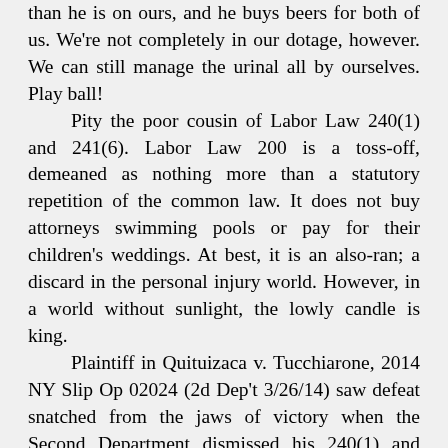than he is on ours, and he buys beers for both of us. We're not completely in our dotage, however. We can still manage the urinal all by ourselves. Play ball!
	Pity the poor cousin of Labor Law 240(1) and 241(6). Labor Law 200 is a toss-off, demeaned as nothing more than a statutory repetition of the common law. It does not buy attorneys swimming pools or pay for their children's weddings. At best, it is an also-ran; a discard in the personal injury world. However, in a world without sunlight, the lowly candle is king.
	Plaintiff in Quituizaca v. Tucchiarone, 2014 NY Slip Op 02024 (2d Dep't 3/26/14) saw defeat snatched from the jaws of victory when the Second Department dismissed his 240(1) and 241(6) claims based on plaintiff's fall from a ladder (non-enumerated activity.) But that mutt 200 claim lives on and, like the country song goes, the girls always get better looking at closin' time.
	While defendants had no authority to supervise plaintiff's work, that's only half the Labor Law 200 rubric.